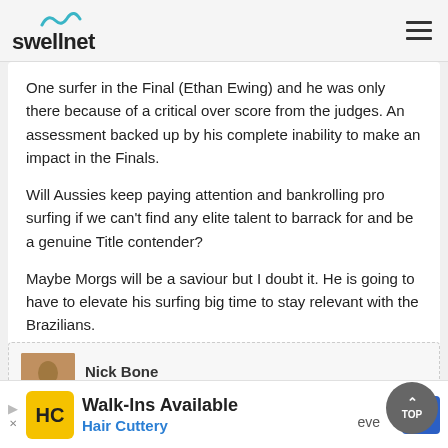swellnet
One surfer in the Final (Ethan Ewing) and he was only there because of a critical over score from the judges. An assessment backed up by his complete inability to make an impact in the Finals.
Will Aussies keep paying attention and bankrolling pro surfing if we can't find any elite talent to barrack for and be a genuine Title contender?
Maybe Morgs will be a saviour but I doubt it. He is going to have to elevate his surfing big time to stay relevant with the Brazilians.
Nick Bone
MONDAY, 21 JUN 2021 at 8:31PM
Walk-Ins Available Hair Cuttery